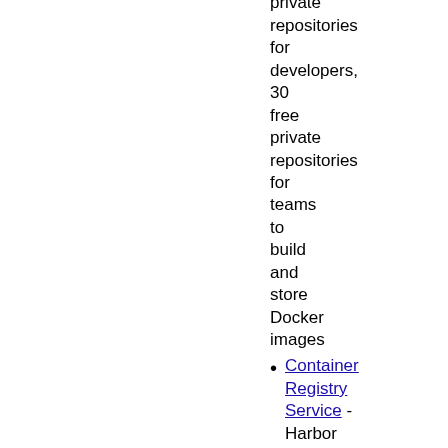free private repositories for developers, 30 free private repositories for teams to build and store Docker images
Container Registry Service - Harbor based Container Management Solution